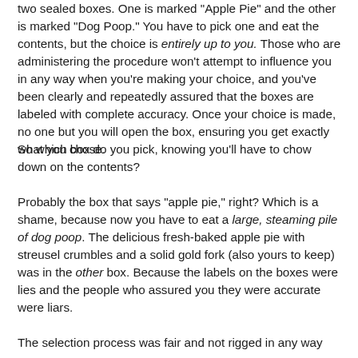two sealed boxes. One is marked "Apple Pie" and the other is marked "Dog Poop." You have to pick one and eat the contents, but the choice is entirely up to you. Those who are administering the procedure won't attempt to influence you in any way when you're making your choice, and you've been clearly and repeatedly assured that the boxes are labeled with complete accuracy. Once your choice is made, no one but you will open the box, ensuring you get exactly what you chose.
So which box do you pick, knowing you'll have to chow down on the contents?
Probably the box that says "apple pie," right? Which is a shame, because now you have to eat a large, steaming pile of dog poop. The delicious fresh-baked apple pie with streusel crumbles and a solid gold fork (also yours to keep) was in the other box. Because the labels on the boxes were lies and the people who assured you they were accurate were liars.
The selection process was fair and not rigged in any way and no amount of investigation will change the view. Results